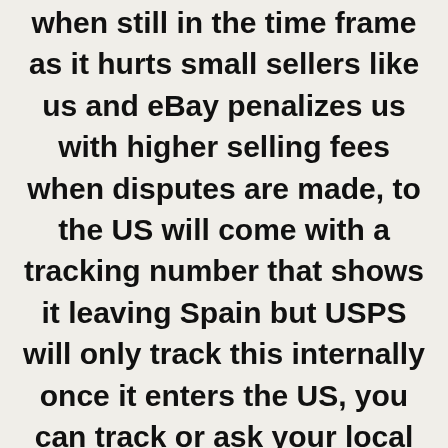when still in the time frame as it hurts small sellers like us and eBay penalizes us with higher selling fees when disputes are made, to the US will come with a tracking number that shows it leaving Spain but USPS will only track this internally once it enters the US, you can track or ask your local PO for the parcel in case of non delivery.